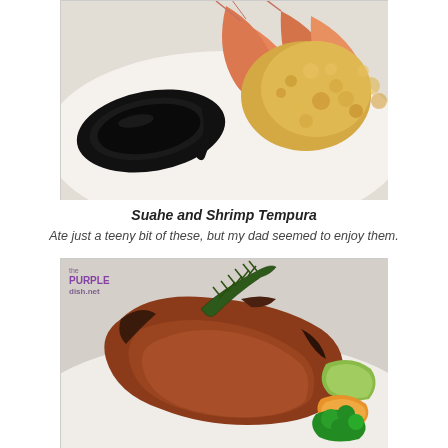[Figure (photo): Close-up photo of Suahe and Shrimp Tempura on a white plate. A black oval dipping sauce dish with dark sauce is visible on the left. Cooked shrimp in orange-pink color and crispy tempura batter are visible.]
Suahe and Shrimp Tempura
Ate just a teeny bit of these, but my dad seemed to enjoy them.
[Figure (photo): Close-up photo of a grilled steak on a white plate, topped with a sprig of fresh rosemary. Alongside the steak are colorful vegetables including green zucchini, orange carrots, and broccoli. A watermark reading 'the PURPLE dish.net' is in the upper left corner.]